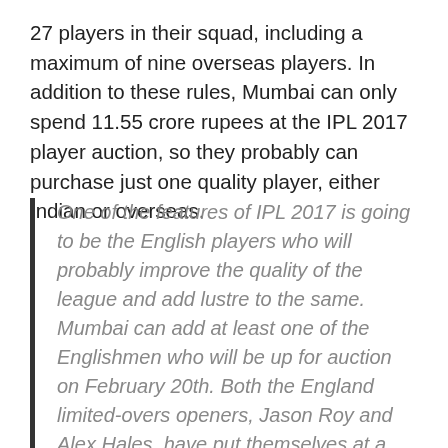27 players in their squad, including a maximum of nine overseas players. In addition to these rules, Mumbai can only spend 11.55 crore rupees at the IPL 2017 player auction, so they probably can purchase just one quality player, either Indian or overseas.
One of the features of IPL 2017 is going to be the English players who will probably improve the quality of the league and add lustre to the same. Mumbai can add at least one of the Englishmen who will be up for auction on February 20th. Both the England limited-overs openers, Jason Roy and Alex Hales, have put themselves at a base price of one crore rupees and if I was